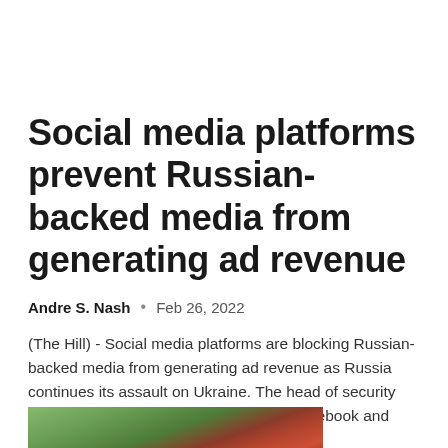Social media platforms prevent Russian-backed media from generating ad revenue
Andre S. Nash  •  Feb 26, 2022
(The Hill) - Social media platforms are blocking Russian-backed media from generating ad revenue as Russia continues its assault on Ukraine. The head of security policy at Meta, the parent company of Facebook and Instagram,...
[Figure (photo): Partial image of a building exterior with a red and green apple logo sign visible, likely a school or institutional building with brick facade.]